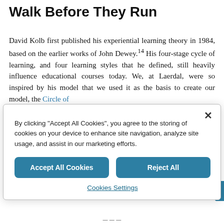Walk Before They Run
David Kolb first published his experiential learning theory in 1984, based on the earlier works of John Dewey.14 His four-stage cycle of learning, and four learning styles that he defined, still heavily influence educational courses today. We, at Laerdal, were so inspired by his model that we used it as the basis to create our model, the Circle of
By clicking "Accept All Cookies", you agree to the storing of cookies on your device to enhance site navigation, analyze site usage, and assist in our marketing efforts.
Accept All Cookies
Reject All
Cookies Settings